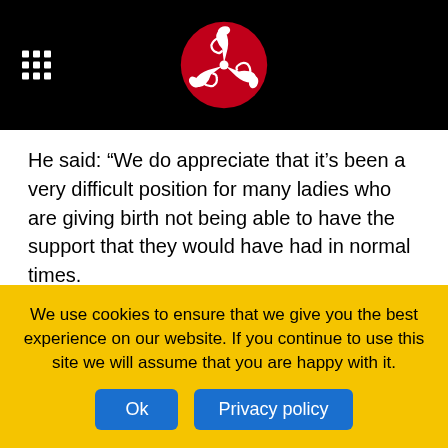[Figure (logo): Isle of Man government header with black background, grid icon on left, and triskelion (three legs) logo in red circle in center]
He said: “We do appreciate that it’s been a very difficult position for many ladies who are giving birth not being able to have the support that they would have had in normal times.
“The only thing that we will be asking is that those birthing partners remain with the lady giving birth throughout the entire period and that they don’t, as they could pre-Covid, nip in and out as they wish.”
Visiting on the maternity ward is permitted between 18:00 and
We use cookies to ensure that we give you the best experience on our website. If you continue to use this site we will assume that you are happy with it.